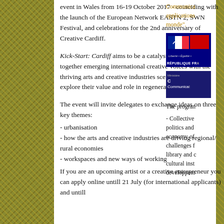event in Wales from 16-19 October 2017 - coinciding with the launch of the European Network EASTN 2, SWN Festival, and celebrations for the 2nd anniversary of Creative Cardiff.
Kick-Start: Cardiff aims to be a catalyst event bringing together emerging international creative voices with the thriving arts and creative industries scene in Wales to explore their value and role in regeneration.
The event will invite delegates to exchange ideas on three key themes:
- urbanisation
- how the arts and creative industries are driving regional/ rural economies
- workspaces and new ways of working
If you are an upcoming artist or a creative entrepreneur you can apply online untill 21 July (for international applicants) and untill
Communica applications monde".
[Figure (logo): French Republic logo - navy blue background with Liberte Egalite text and REPUBLIQUE FRA]
[Figure (logo): Ministere logo - dark navy background with Communica text]
The progran
- Collective politics and economy of challenges f library and c cultural inst developpem